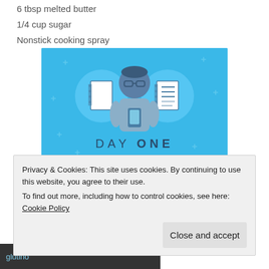6 tbsp melted butter
1/4 cup sugar
Nonstick cooking spray
[Figure (illustration): Day One journaling app advertisement on a blue background. Shows a person holding a phone with two notebook icons flanking them. Text reads: DAY ONE - The only journaling app you'll ever need.]
Privacy & Cookies: This site uses cookies. By continuing to use this website, you agree to their use.
To find out more, including how to control cookies, see here: Cookie Policy
[Figure (photo): Partial photo at bottom showing what appears to be food packaging with text 'glutino']